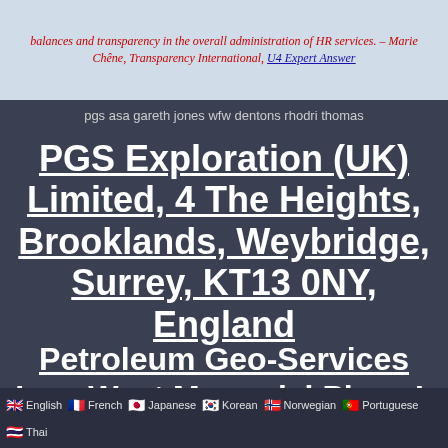[Figure (other): Top banner with italicized red and blue text on a light blue/gray background, quoting Marie Chêne, Transparency International, with a link to U4 Expert Answer]
pgs asa gareth jones wfw dentons rhodri thomas
PGS Exploration (UK) Limited, 4 The Heights, Brooklands, Weybridge, Surrey, KT13 0NY, England
Petroleum Geo-Services Inc., West Memorial Place I, 15375 Memorial Drive, Suite 100, Houston, TX 77079, USA
🇬🇧 English  🇫🇷 French  🇯🇵 Japanese  🇰🇷 Korean  🇳🇴 Norwegian  🇵🇹 Portuguese  🇹🇭 Thai